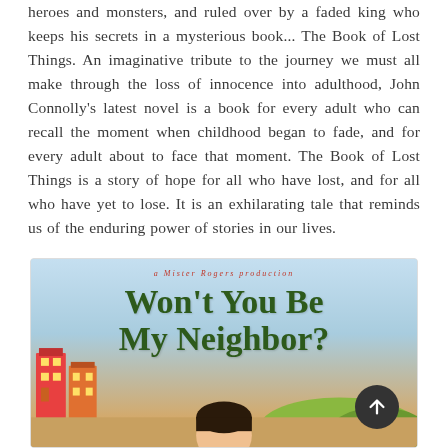heroes and monsters, and ruled over by a faded king who keeps his secrets in a mysterious book... The Book of Lost Things. An imaginative tribute to the journey we must all make through the loss of innocence into adulthood, John Connolly's latest novel is a book for every adult who can recall the moment when childhood began to fade, and for every adult about to face that moment. The Book of Lost Things is a story of hope for all who have lost, and for all who have yet to lose. It is an exhilarating tale that reminds us of the enduring power of stories in our lives.
[Figure (illustration): Movie poster for 'Won't You Be My Neighbor?' - a Mister Rogers documentary. Shows the title text in large dark green serif font on a light blue sky background, with colorful buildings on the left, a person's head visible at the bottom center, and a circular scroll-up button overlay at the bottom right.]